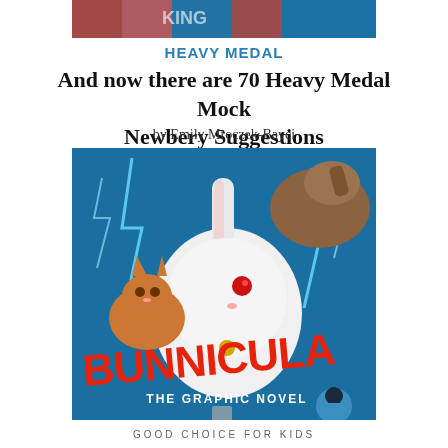[Figure (photo): Partial top banner image showing colorful graphic/illustration strip]
HEAVY MEDAL
And now there are 70 Heavy Medal Mock Newbery Suggestions
by Emily Mroczek-Bayci
[Figure (photo): Book cover of Bunnicula: The Graphic Novel, featuring a large white rabbit with red eyes, a cat, a dog, lightning bolts on a blue background, and the title in large red letters]
GOOD CHOICE FOR KIDS